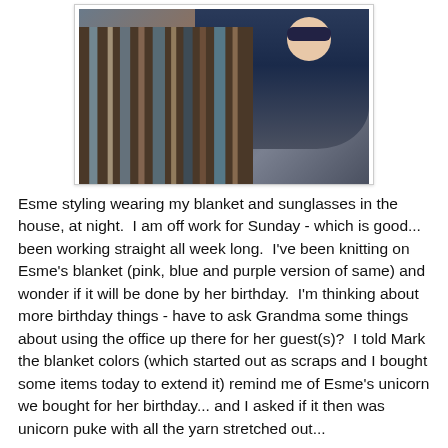[Figure (photo): A child (Esme) sitting on a bed wearing sunglasses and holding/wrapped in a striped knitted blanket with brown, blue, and grey stripes. The child is wearing a dark navy patterned top.]
Esme styling wearing my blanket and sunglasses in the house, at night.  I am off work for Sunday - which is good... been working straight all week long.  I've been knitting on Esme's blanket (pink, blue and purple version of same) and wonder if it will be done by her birthday.  I'm thinking about more birthday things - have to ask Grandma some things about using the office up there for her guest(s)?  I told Mark the blanket colors (which started out as scraps and I bought some items today to extend it) remind me of Esme's unicorn we bought for her birthday... and I asked if it then was unicorn puke with all the yarn stretched out...